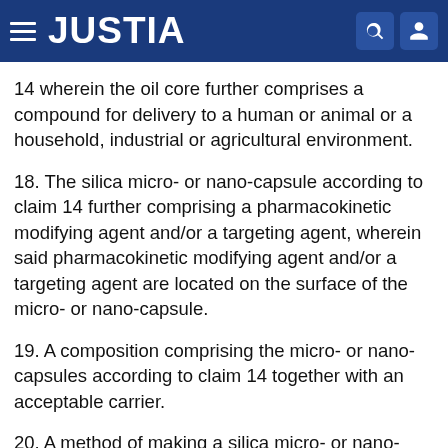JUSTIA
14 wherein the oil core further comprises a compound for delivery to a human or animal or a household, industrial or agricultural environment.
18. The silica micro- or nano-capsule according to claim 14 further comprising a pharmacokinetic modifying agent and/or a targeting agent, wherein said pharmacokinetic modifying agent and/or a targeting agent are located on the surface of the micro- or nano-capsule.
19. A composition comprising the micro- or nano-capsules according to claim 14 together with an acceptable carrier.
20. A method of making a silica micro- or nano-capsule comprising the steps of: